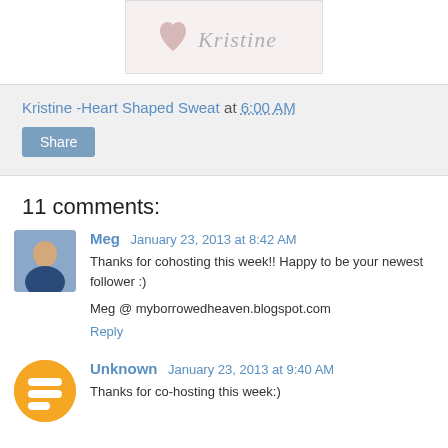[Figure (illustration): Signature image with a heart and the name 'Kristine' in cursive script on a light pink/white background with a border]
Kristine -Heart Shaped Sweat at 6:00 AM
Share
11 comments:
[Figure (photo): Small square avatar photo of a person (Meg)]
Meg January 23, 2013 at 8:42 AM
Thanks for cohosting this week!! Happy to be your newest follower :)
Meg @ myborrowedheaven.blogspot.com
Reply
[Figure (logo): Orange circle Blogger avatar icon for Unknown user]
Unknown January 23, 2013 at 9:40 AM
Thanks for co-hosting this week:)